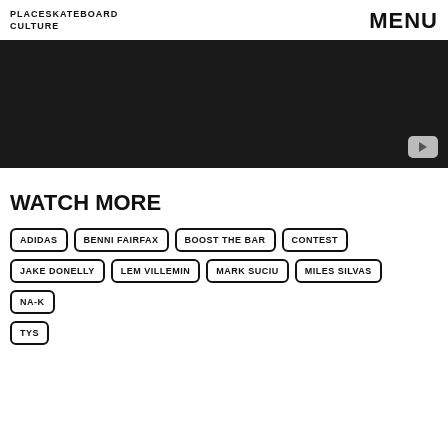PLACESKATEBOARD CULTURE  MENU
[Figure (screenshot): Dark video player block with YouTube play button in bottom right corner]
WATCH MORE
ADIDAS
BENNI FAIRFAX
BOOST THE BAR
CONTEST
JAKE DONELLY
LEM VILLEMIN
MARK SUCIU
MILES SILVAS
NA-K
TYS
We use cookies to ensure that we give you the best experience on our website. If you continue to use this site we will assume that you are happy with it.  Ok